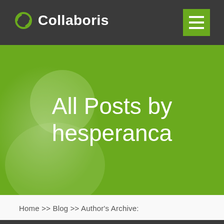Collaboris
All Posts by hesperanca
Home >> Blog >> Author's Archive: